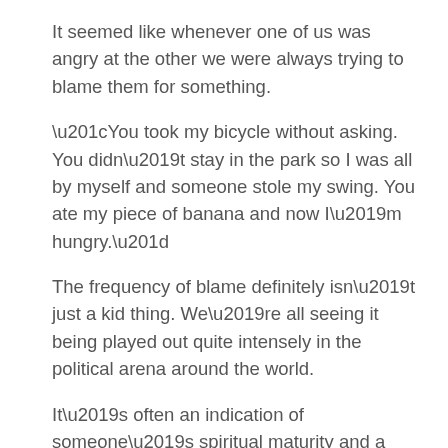It seemed like whenever one of us was angry at the other we were always trying to blame them for something.
“You took my bicycle without asking. You didn’t stay in the park so I was all by myself and someone stole my swing. You ate my piece of banana and now I’m hungry.”
The frequency of blame definitely isn’t just a kid thing. We’re all seeing it being played out quite intensely in the political arena around the world.
It’s often an indication of someone’s spiritual maturity and a reflection how high their frequency resonance is.